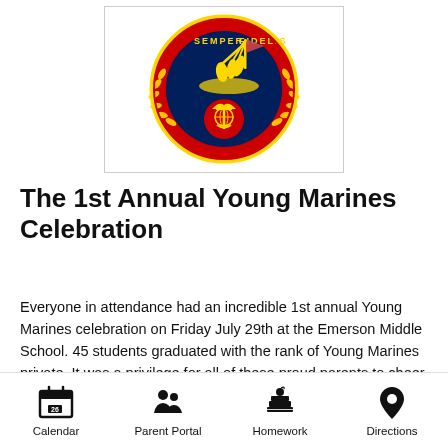[Figure (logo): Young Marines emblem/seal with 'Semper Fidelis' text, Iwo Jima flag-raising imagery, Marine globe and anchor, red and gold circular design with laurel wreath]
The 1st Annual Young Marines Celebration
Everyone in attendance had an incredible 1st annual Young Marines celebration on Friday July 29th at the Emerson Middle School. 45 students graduated with the rank of Young Marines private. It was a privilege for all of these proud parents to cheer on their child as they showed off their abilities during the very impressive drill presentation.
Calendar | Parent Portal | Homework | Directions